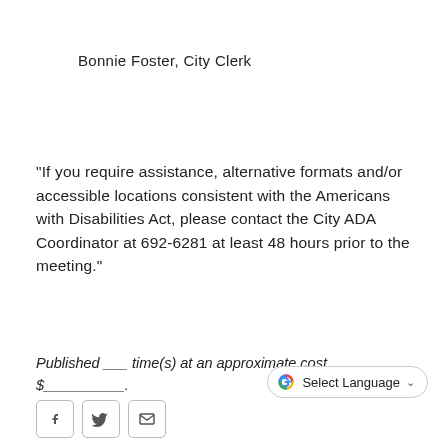Bonnie Foster, City Clerk
"If you require assistance, alternative formats and/or accessible locations consistent with the Americans with Disabilities Act, please contact the City ADA Coordinator at 692-6281 at least 48 hours prior to the meeting."
Published ___ time(s) at an approximate cost $___________.